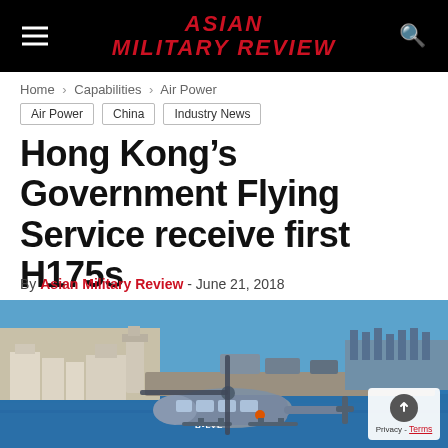ASIAN MILITARY REVIEW
Home > Capabilities > Air Power
Air Power
China
Industry News
Hong Kong’s Government Flying Service receive first H175s
By Asian Military Review - June 21, 2018
[Figure (photo): An H175 helicopter with registration B-LVE flying over a coastal harbor with port facilities and blue water visible below.]